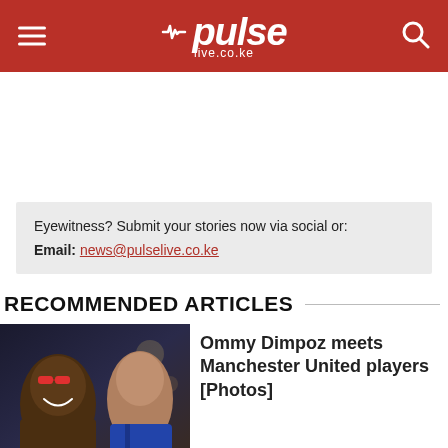pulse live.co.ke
Eyewitness? Submit your stories now via social or:
Email: news@pulselive.co.ke
RECOMMENDED ARTICLES
[Figure (photo): Two men smiling for a selfie at night outdoors, one wearing red sunglasses]
Ommy Dimpoz meets Manchester United players [Photos]